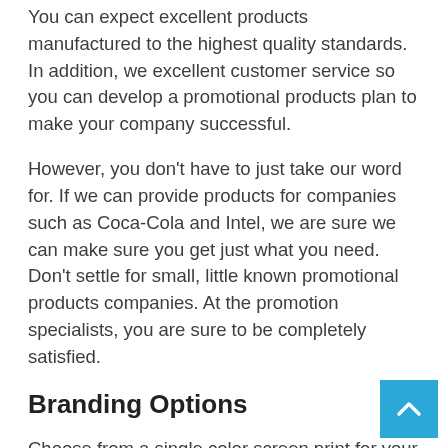You can expect excellent products manufactured to the highest quality standards. In addition, we excellent customer service so you can develop a promotional products plan to make your company successful.
However, you don't have to just take our word for. If we can provide products for companies such as Coca-Cola and Intel, we are sure we can make sure you get just what you need. Don't settle for small, little known promotional products companies. At the promotion specialists, you are sure to be completely satisfied.
Branding Options
Choose from a single color screen print for your umbrellas or a full color branding. Each print is guaranteed to provide an excellent representation of your company or organisation. Whether you simply